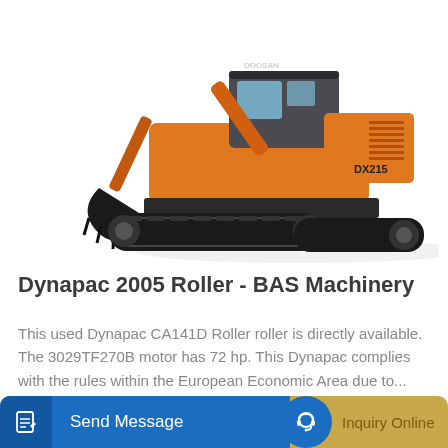[Figure (photo): Orange Doosan DX215 crawler excavator on white background, facing left, with extended boom and bucket]
Dynapac 2005 Roller - BAS Machinery
This used Dynapac CA141D Roller roller is directly available. The 3029TF270B motor has 72 hp. This Dynapac complies with the rules within the European Economic Area due to...
Learn More
Send Message
Inquiry Online